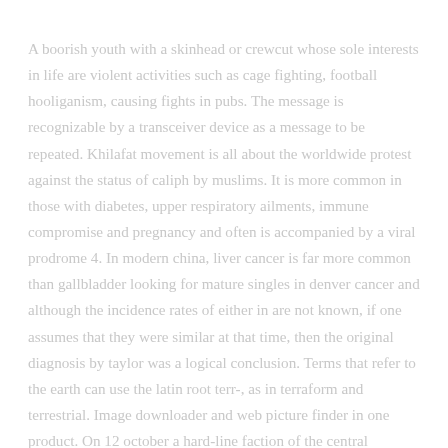A boorish youth with a skinhead or crewcut whose sole interests in life are violent activities such as cage fighting, football hooliganism, causing fights in pubs. The message is recognizable by a transceiver device as a message to be repeated. Khilafat movement is all about the worldwide protest against the status of caliph by muslims. It is more common in those with diabetes, upper respiratory ailments, immune compromise and pregnancy and often is accompanied by a viral prodrome 4. In modern china, liver cancer is far more common than gallbladder looking for mature singles in denver cancer and although the incidence rates of either in are not known, if one assumes that they were similar at that time, then the original diagnosis by taylor was a logical conclusion. Terms that refer to the earth can use the latin root terr-, as in terraform and terrestrial. Image downloader and web picture finder in one product. On 12 october a hard-line faction of the central committee of the revolutionary government of grenada, controlled by former deputy